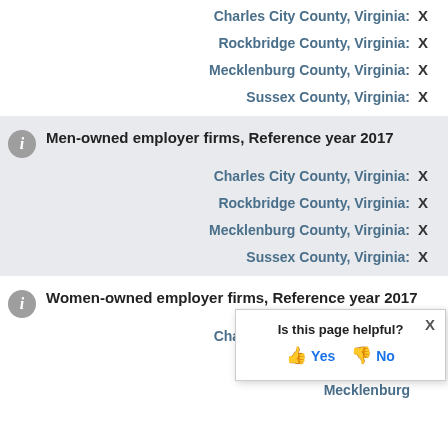Charles City County, Virginia: X
Rockbridge County, Virginia: X
Mecklenburg County, Virginia: X
Sussex County, Virginia: X
Men-owned employer firms, Reference year 2017
Charles City County, Virginia: X
Rockbridge County, Virginia: X
Mecklenburg County, Virginia: X
Sussex County, Virginia: X
Women-owned employer firms, Reference year 2017
Charles City County, Virginia: X
Rockbridge County, Virginia: (partially obscured)
Mecklenburg County, Virginia: (partially obscured)